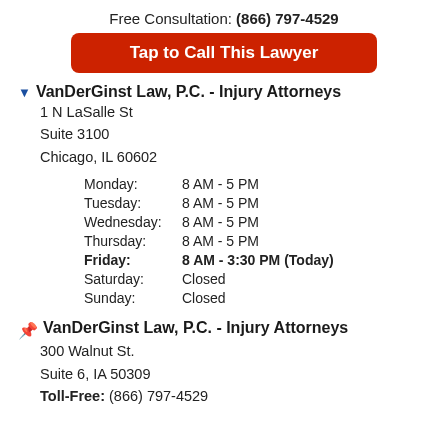Free Consultation: (866) 797-4529
Tap to Call This Lawyer
VanDerGinst Law, P.C. - Injury Attorneys
1 N LaSalle St
Suite 3100
Chicago, IL 60602
| Day | Hours |
| --- | --- |
| Monday: | 8 AM - 5 PM |
| Tuesday: | 8 AM - 5 PM |
| Wednesday: | 8 AM - 5 PM |
| Thursday: | 8 AM - 5 PM |
| Friday: | 8 AM - 3:30 PM (Today) |
| Saturday: | Closed |
| Sunday: | Closed |
VanDerGinst Law, P.C. - Injury Attorneys
300 Walnut St.
Suite 6, IA 50309
Toll-Free: (866) 797-4529